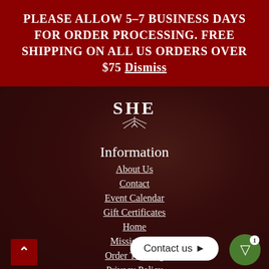PLEASE ALLOW 5-7 BUSINESS DAYS FOR ORDER PROCESSING. FREE SHIPPING ON ALL US ORDERS OVER $75 Dismiss
[Figure (logo): SHE brand logo with stylized letters and roots/plant motif in white]
Information
About Us
Contact
Event Calendar
Gift Certificates
Home
Mission Stat...
Order Tracking
Privacy Policy